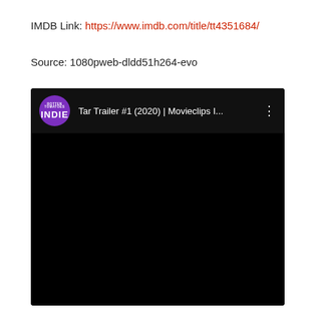IMDB Link: https://www.imdb.com/title/tt4351684/
Source: 1080pweb-dldd51h264-evo
[Figure (screenshot): YouTube-style video thumbnail/embed showing 'Tar Trailer #1 (2020) | Movieclips I...' with an Indie (purple circle) channel logo on a black background. The video content area is entirely black.]